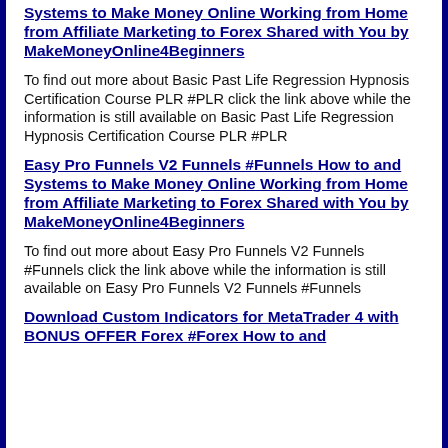Systems to Make Money Online Working from Home from Affiliate Marketing to Forex Shared with You by MakeMoneyOnline4Beginners
To find out more about Basic Past Life Regression Hypnosis Certification Course PLR #PLR click the link above while the information is still available on Basic Past Life Regression Hypnosis Certification Course PLR #PLR
Easy Pro Funnels V2 Funnels #Funnels How to and Systems to Make Money Online Working from Home from Affiliate Marketing to Forex Shared with You by MakeMoneyOnline4Beginners
To find out more about Easy Pro Funnels V2 Funnels #Funnels click the link above while the information is still available on Easy Pro Funnels V2 Funnels #Funnels
Download Custom Indicators for MetaTrader 4 with BONUS OFFER Forex #Forex How to and